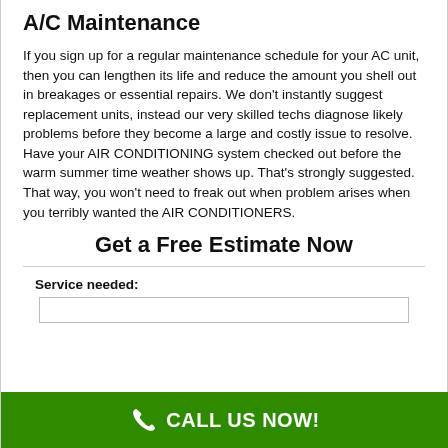A/C Maintenance
If you sign up for a regular maintenance schedule for your AC unit, then you can lengthen its life and reduce the amount you shell out in breakages or essential repairs. We don't instantly suggest replacement units, instead our very skilled techs diagnose likely problems before they become a large and costly issue to resolve. Have your AIR CONDITIONING system checked out before the warm summer time weather shows up. That's strongly suggested. That way, you won't need to freak out when problem arises when you terribly wanted the AIR CONDITIONERS.
Get a Free Estimate Now
Service needed:
CALL US NOW!